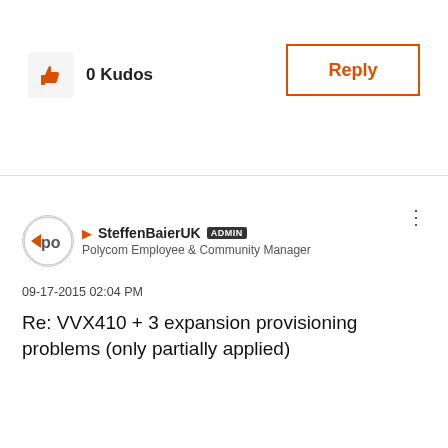[Figure (illustration): Thumbs up icon in a light gray rounded box, with '0 Kudos' text beside it]
0 Kudos
Reply
[Figure (logo): Polycom logo avatar circle with 'po' text and orange arrow]
SteffenBaierUK ADMIN
Polycom Employee & Community Manager
09-17-2015 02:04 PM
Re: VVX410 + 3 expansion provisioning problems (only partially applied)
Hello Francois Collerette,
I will make this my last response as I had twice asked you to